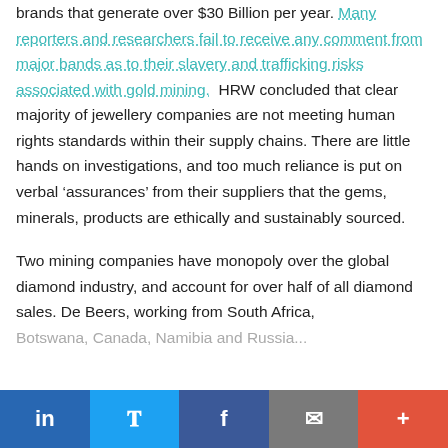brands that generate over $30 Billion per year. Many reporters and researchers fail to receive any comment from major bands as to their slavery and trafficking risks associated with gold mining.  HRW concluded that clear majority of jewellery companies are not meeting human rights standards within their supply chains. There are little hands on investigations, and too much reliance is put on verbal ‘assurances’ from their suppliers that the gems, minerals, products are ethically and sustainably sourced.

Two mining companies have monopoly over the global diamond industry, and account for over half of all diamond sales. De Beers, working from South Africa, Botswana, Canada, Namibia and Russia...
LinkedIn | Twitter | Facebook | Email | More